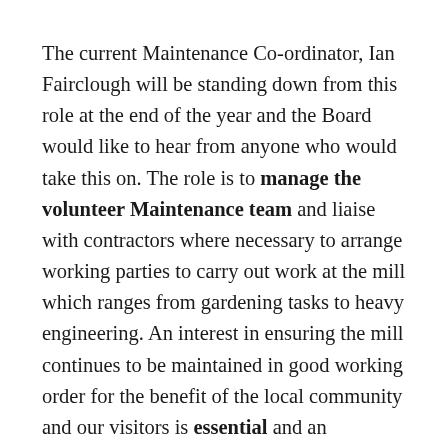The current Maintenance Co-ordinator, Ian Fairclough will be standing down from this role at the end of the year and the Board would like to hear from anyone who would take this on. The role is to manage the volunteer Maintenance team and liaise with contractors where necessary to arrange working parties to carry out work at the mill which ranges from gardening tasks to heavy engineering. An interest in ensuring the mill continues to be maintained in good working order for the benefit of the local community and our visitors is essential and an engineering background is desirable.